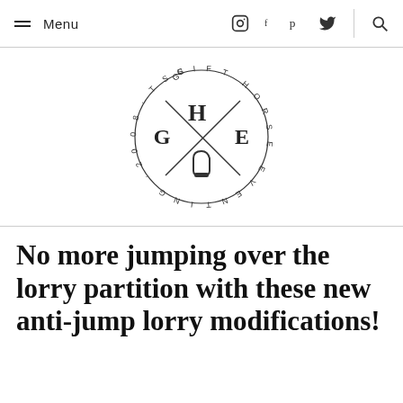≡ Menu  [instagram] [facebook] [pinterest] [twitter] [search]
[Figure (logo): Gift Horse Eventing circular logo with GHE letters and crossed lines, Est. 2008, stirrup icon in center]
No more jumping over the lorry partition with these new anti-jump lorry modifications!